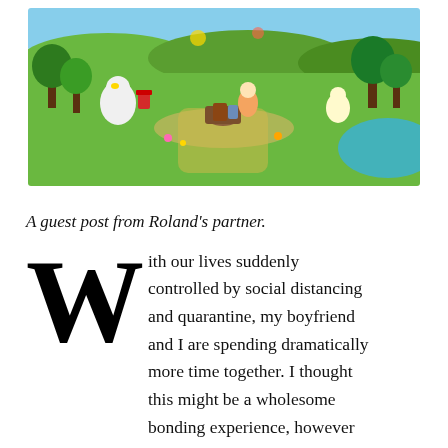[Figure (illustration): Animal Crossing: New Horizons game artwork showing colorful island scene with cartoon animal characters, villagers, trees, water, and tropical environment.]
A guest post from Roland's partner.
With our lives suddenly controlled by social distancing and quarantine, my boyfriend and I are spending dramatically more time together. I thought this might be a wholesome bonding experience, however he's dedicating almost his entire time to some game called Animal Crossing. I don't know if you've heard about it? I hadn't, but it's popped up in my socials a bit and apparently it's a bit of a big deal. So anyway, I